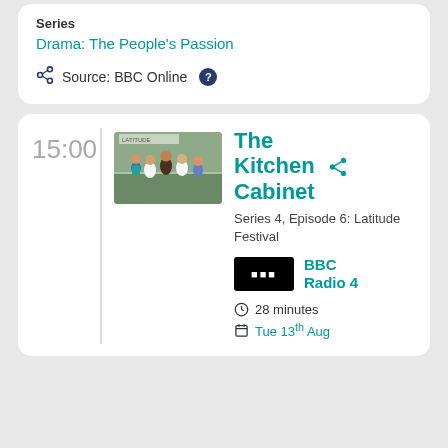Series
Drama: The People's Passion
Source: BBC Online
15:00
[Figure (photo): Group photo of five people standing outdoors at what appears to be the Latitude Festival]
The Kitchen Cabinet
Series 4, Episode 6: Latitude Festival
BBC Radio 4
28 minutes
Tue 13th Aug